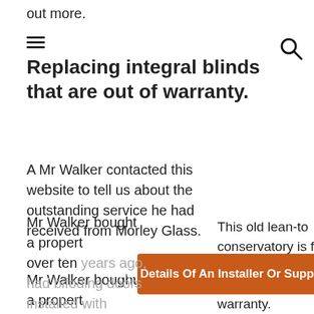out more.
Replacing integral blinds that are out of warranty.
A Mr Walker contacted this website to tell us about the outstanding service he had received from Morley Glass.
This old lean-to conservatory is fitted with doors no longer available and glass that is out of warranty.
Mr Walker bought a property over ten years ago, had bifoding doors installed with
Get Details Of An Installer Or Supplier →